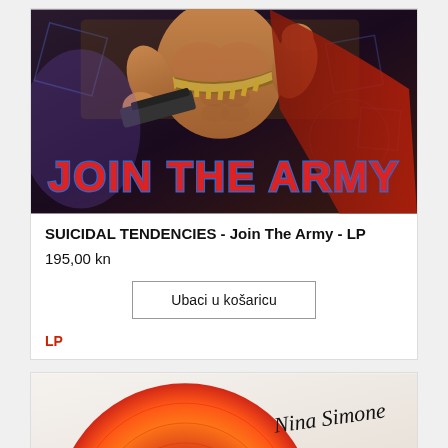[Figure (illustration): Album cover art for Suicidal Tendencies 'Join The Army' showing a muscular shirtless figure holding a weapon with ammunition, with bold red and blue outlined text 'JOIN THE ARMY' at the bottom]
SUICIDAL TENDENCIES - Join The Army - LP
195,00 kn
Ubaci u košaricu
LP
[Figure (photo): Album cover showing a red/orange circular vinyl record design on a light background with a cursive signature reading 'Nina Simone']